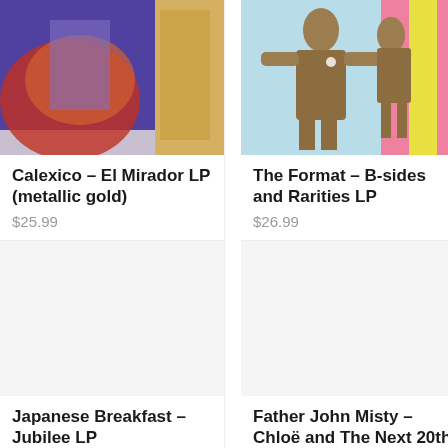[Figure (photo): Album cover for Calexico - El Mirador LP (metallic gold), showing colorful abstract art with purple, red, and gold tones]
Calexico – El Mirador LP (metallic gold)
$25.99
[Figure (photo): Album cover for The Format - B-sides and Rarities LP, showing illustrated figures in tan/brown on a light blue background with pink and yellow striped element]
The Format – B-sides and Rarities LP
$26.99
[Figure (photo): Album cover for Japanese Breakfast - Jubilee LP (blank/white)]
Japanese Breakfast – Jubilee LP
[Figure (photo): Album cover for Father John Misty - Chloë and The Next 20th (blank/white)]
Father John Misty – Chloë and The Next 20th